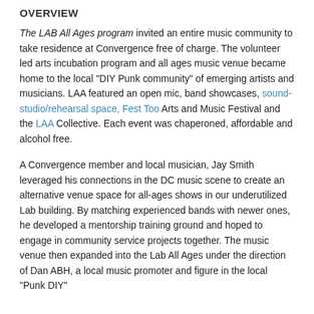OVERVIEW
The LAB All Ages program invited an entire music community to take residence at Convergence free of charge. The volunteer led arts incubation program and all ages music venue became home to the local “DIY Punk community” of emerging artists and musicians. LAA featured an open mic, band showcases, sound-studio/rehearsal space, Fest Too Arts and Music Festival and the LAA Collective. Each event was chaperoned, affordable and alcohol free.
A Convergence member and local musician, Jay Smith leveraged his connections in the DC music scene to create an alternative venue space for all-ages shows in our underutilized Lab building. By matching experienced bands with newer ones, he developed a mentorship training ground and hoped to engage in community service projects together. The music venue then expanded into the Lab All Ages under the direction of Dan ABH, a local music promoter and figure in the local “Punk DIY” community, who became a volunteer board member and helped